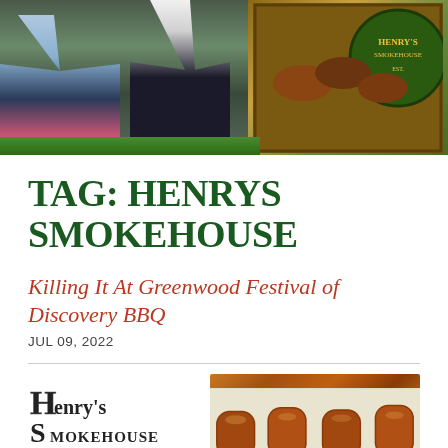[Figure (photo): Top banner photo showing people at an outdoor BBQ festival event with a decorative wooden sign/booth in the background]
TAG: HENRYS SMOKEHOUSE
Killing It At Greenwood Festival of Discovery BBQ
JUL 09, 2022
[Figure (logo): Henry's Smokehouse logo in vintage Western style lettering]
[Figure (photo): Photo of glazed BBQ sausages/ribs on a white tray with lettuce garnish]